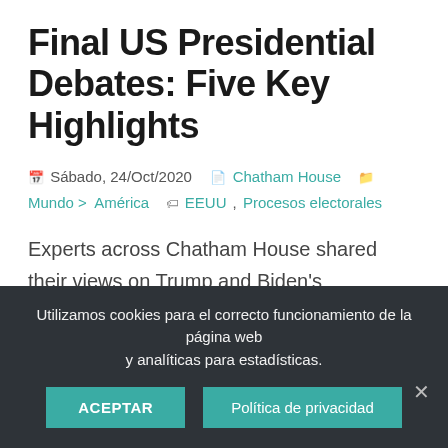Final US Presidential Debates: Five Key Highlights
🗓 Sábado, 24/Oct/2020  📄 Chatham House  📁 Mundo > América  🏷 EEUU, Procesos electorales
Experts across Chatham House shared their views on Trump and Biden's performance and their key takeaways from the last debate. More than 47 million Americans have already cast their vote and few voters are undecided, but the debates still provide a good lens into these two very different candidates.
Utilizamos cookies para el correcto funcionamiento de la página web y analíticas para estadísticas.
ACEPTAR  Política de privacidad